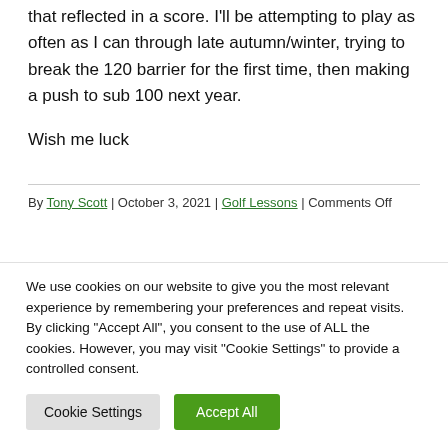that reflected in a score. I'll be attempting to play as often as I can through late autumn/winter, trying to break the 120 barrier for the first time, then making a push to sub 100 next year.
Wish me luck
By Tony Scott | October 3, 2021 | Golf Lessons | Comments Off
We use cookies on our website to give you the most relevant experience by remembering your preferences and repeat visits. By clicking "Accept All", you consent to the use of ALL the cookies. However, you may visit "Cookie Settings" to provide a controlled consent.